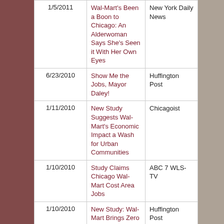| Date | Title | Source |
| --- | --- | --- |
| 1/5/2011 | Wal-Mart's Been a Boon to Chicago: An Alderwoman Says She's Seen it With Her Own Eyes | New York Daily News |
| 6/23/2010 | Show Me the Jobs, Mayor Daley! | Huffington Post |
| 1/11/2010 | New Study Suggests Wal-Mart's Economic Impact a Wash for Urban Communities | Chicagoist |
| 1/10/2010 | Study Claims Chicago Wal-Mart Cost Area Jobs | ABC 7 WLS-TV |
| 1/10/2010 | New Study: Wal-Mart Brings Zero Jobs to Chicago | Huffington Post |
| 1/8/2010 | The Wal-Mart "New Jobs" Myth | Progress Illinois |